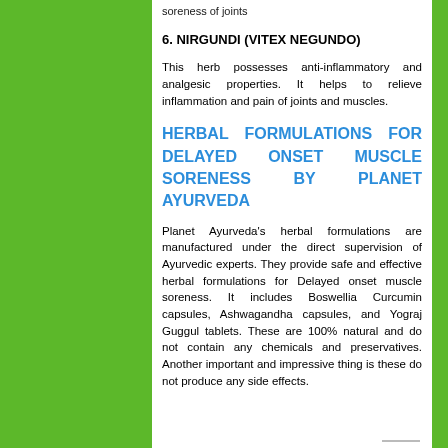soreness of joints
6. NIRGUNDI (VITEX NEGUNDO)
This herb possesses anti-inflammatory and analgesic properties. It helps to relieve inflammation and pain of joints and muscles.
HERBAL FORMULATIONS FOR DELAYED ONSET MUSCLE SORENESS BY PLANET AYURVEDA
Planet Ayurveda's herbal formulations are manufactured under the direct supervision of Ayurvedic experts. They provide safe and effective herbal formulations for Delayed onset muscle soreness. It includes Boswellia Curcumin capsules, Ashwagandha capsules, and Yograj Guggul tablets. These are 100% natural and do not contain any chemicals and preservatives. Another important and impressive thing is these do not produce any side effects.